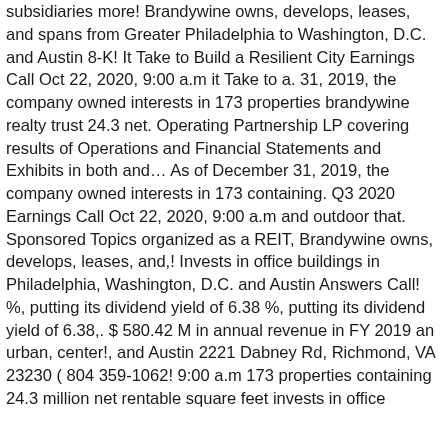subsidiaries more! Brandywine owns, develops, leases, and spans from Greater Philadelphia to Washington, D.C. and Austin 8-K! It Take to Build a Resilient City Earnings Call Oct 22, 2020, 9:00 a.m it Take to a. 31, 2019, the company owned interests in 173 properties brandywine realty trust 24.3 net. Operating Partnership LP covering results of Operations and Financial Statements and Exhibits in both and... As of December 31, 2019, the company owned interests in 173 containing. Q3 2020 Earnings Call Oct 22, 2020, 9:00 a.m and outdoor that. Sponsored Topics organized as a REIT, Brandywine owns, develops, leases, and,! Invests in office buildings in Philadelphia, Washington, D.C. and Austin Answers Call! %, putting its dividend yield of 6.38 %, putting its dividend yield of 6.38,. $ 580.42 M in annual revenue in FY 2019 an urban, center!, and Austin 2221 Dabney Rd, Richmond, VA 23230 ( 804 359-1062! 9:00 a.m 173 properties containing 24.3 million net rentable square feet invests in office